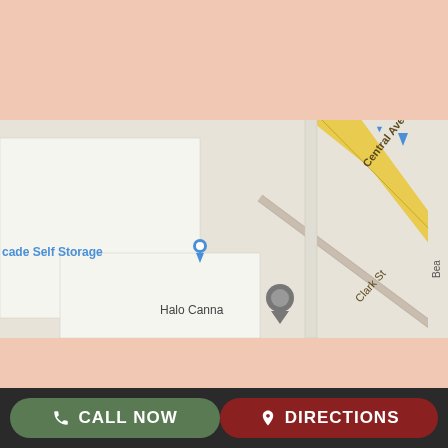[Figure (logo): Borings Upholstery logo on black background with decorative elements]
[Figure (map): Google Maps view showing streets including Central Ave, Clark St, with markers for Cascade Self Storage and Halo Canna locations]
© 2022 Borrings Upholstery All Rights Reserved:
Table Rock Marketing
Privacy Policy
CALL NOW   DIRECTIONS